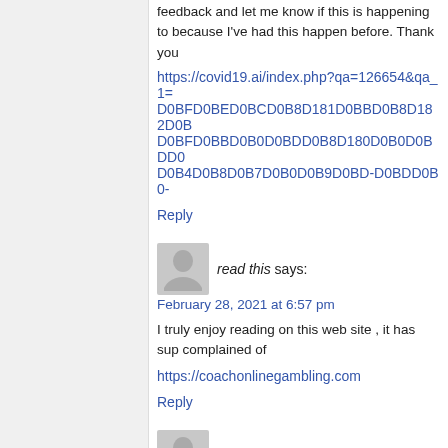feedback and let me know if this is happening to because I've had this happen before. Thank you
https://covid19.ai/index.php?qa=126654&qa_1=D0BFD0BED0BCD0B8D181D0BBD0B8D182D0BFD0BBD0B0D0BDD0B8D180D0B0D0BDD0B8D0B5D0B4D0B8D0B7D0B0D0B9D0BD-D0BDD0B0-
Reply
read this says:
February 28, 2021 at 6:57 pm
I truly enjoy reading on this web site , it has sup complained of
https://coachonlinegambling.com
Reply
Jorge Tebbs says:
March 1, 2021 at 1:24 am
I must thank you for the efforts you've put in pe content from you in the future as well. In fact, yo own site now 😉
https://bbs.now.qq.com/home.php?mod=space&